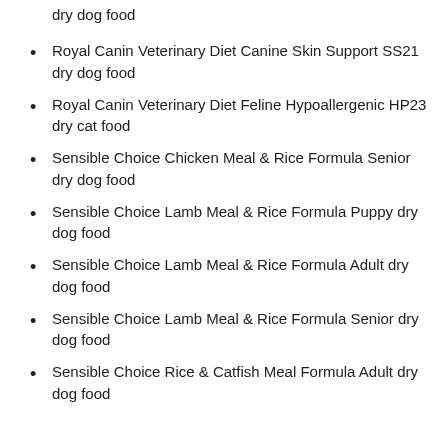dry dog food
Royal Canin Veterinary Diet Canine Skin Support SS21 dry dog food
Royal Canin Veterinary Diet Feline Hypoallergenic HP23 dry cat food
Sensible Choice Chicken Meal & Rice Formula Senior dry dog food
Sensible Choice Lamb Meal & Rice Formula Puppy dry dog food
Sensible Choice Lamb Meal & Rice Formula Adult dry dog food
Sensible Choice Lamb Meal & Rice Formula Senior dry dog food
Sensible Choice Rice & Catfish Meal Formula Adult dry dog food